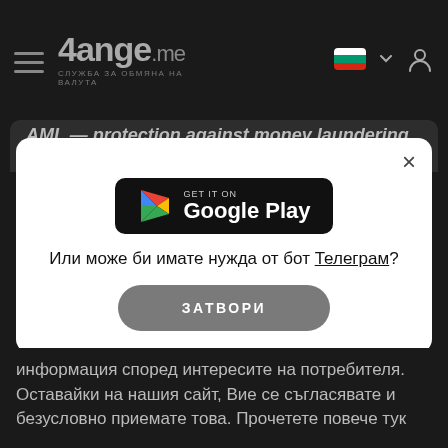4ange.me — СЛУЖБА ЗА ОБМЯНА НА ВАЛУТА
AML — protection against money laundering...
[Figure (logo): Google Play badge — black rounded rectangle with Play triangle icon, text 'GET IT ON Google Play']
Или може би имате нужда от бот Телеграм?
ЗАТВОРИ
информация според интересите на потребителя. Оставайки на нашия сайт, Вие се съгласявате и безусловно приемате това. Прочетете повече тук